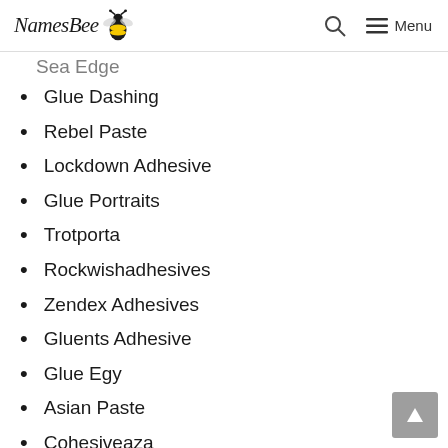NamesBee [logo] Search Menu
Sea Edge (partial, cut off at top)
Glue Dashing
Rebel Paste
Lockdown Adhesive
Glue Portraits
Trotporta
Rockwishadhesives
Zendex Adhesives
Gluents Adhesive
Glue Egy
Asian Paste
Cohesiveaza
Vibetite
Bright King
Espresso Paste
Springstick (partial, cut off at bottom)